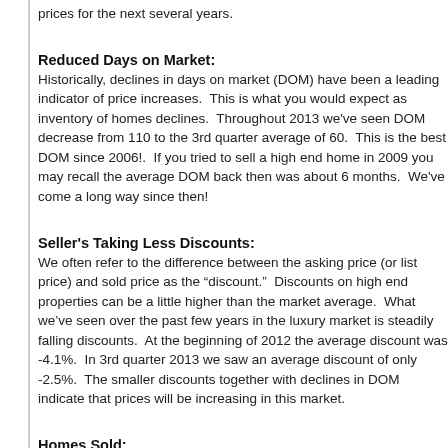prices for the next several years.
Reduced Days on Market:
Historically, declines in days on market (DOM) have been a leading indicator of price increases.  This is what you would expect as inventory of homes declines.  Throughout 2013 we've seen DOM decrease from 110 to the 3rd quarter average of 60.  This is the best DOM since 2006!.  If you tried to sell a high end home in 2009 you may recall the average DOM back then was about 6 months.  We've come a long way since then!
Seller's Taking Less Discounts:
We often refer to the difference between the asking price (or list price) and sold price as the “discount.”  Discounts on high end properties can be a little higher than the market average.  What we’ve seen over the past few years in the luxury market is steadily falling discounts.  At the beginning of 2012 the average discount was -4.1%.  In 3rd quarter 2013 we saw an average discount of only -2.5%.  The smaller discounts together with declines in DOM indicate that prices will be increasing in this market.
Homes Sold:
We’ve seen strong gains in homes sold in the luxury segment.  There were 502 sales in 3Q2013 vs 449 in 3Q2012.  There is a lot of seasonal